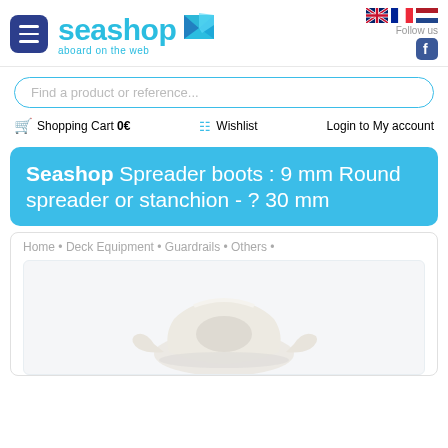[Figure (logo): Seashop logo with blue text and envelope icon, tagline 'aboard on the web']
[Figure (infographic): UK, French, and Dutch flag icons for language selection; Facebook icon for social media follow]
Find a product or reference...
Shopping Cart 0€   Wishlist   Login to My account
Seashop Spreader boots : 9 mm Round spreader or stanchion - ? 30 mm
Home • Deck Equipment • Guardrails • Others •
[Figure (photo): White plastic spreader boot product photo on light background]